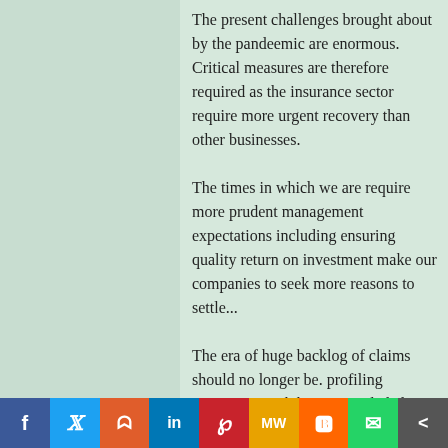The present challenges brought about by the pandemic are enormous. Critical measures are therefore required as the insurance sector require more urgent recovery than other businesses.
The times in which we are require more prudent management expectations including ensuring quality return on investment make our companies to seek more reasons to settle...
The era of huge backlog of claims should no longer be. profiling companies with huge unsettled claims for neglecting the plight of their clients in prompt settlement of claims...
Operators in the industry must strengthen their human capital risks. It has been observed that the gains of domestic... Content Development Act 2010 is gradually loosing ground especially in the oil and gas and the Aviation sectors...
f  t  reddit  in  P  MW  m  whatsapp  share